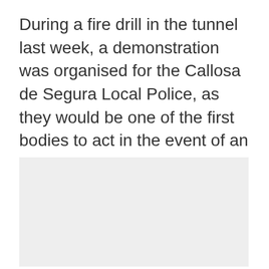During a fire drill in the tunnel last week, a demonstration was organised for the Callosa de Segura Local Police, as they would be one of the first bodies to act in the event of an accident.
[Figure (photo): A grey placeholder image block, likely a photograph related to the fire drill or tunnel demonstration.]